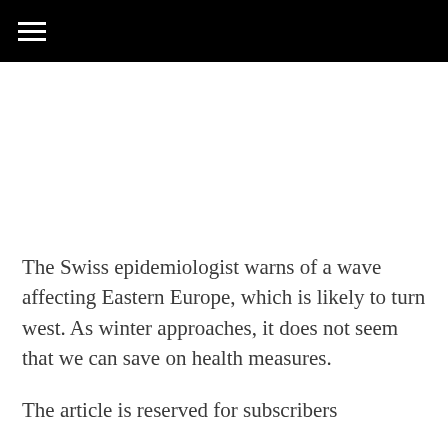The Swiss epidemiologist warns of a wave affecting Eastern Europe, which is likely to turn west. As winter approaches, it does not seem that we can save on health measures.
The article is reserved for subscribers